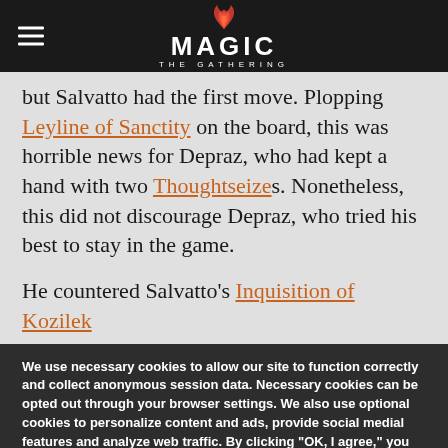Magic: The Gathering
but Salvatto had the first move. Plopping Leyline of Sanctity on the board, this was horrible news for Depraz, who had kept a hand with two Thoughtseizes. Nonetheless, this did not discourage Depraz, who tried his best to stay in the game.
He countered Salvatto's Inquisition of Kozilek
We use necessary cookies to allow our site to function correctly and collect anonymous session data. Necessary cookies can be opted out through your browser settings. We also use optional cookies to personalize content and ads, provide social medial features and analyze web traffic. By clicking “OK, I agree,” you consent to optional cookies. (Learn more about cookies.)
OK, I agree
No, thanks